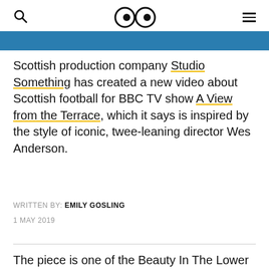Search | Eyes logo | Menu
[Figure (photo): Blue image strip at top of article]
Scottish production company Studio Something has created a new video about Scottish football for BBC TV show A View from the Terrace, which it says is inspired by the style of iconic, twee-leaning director Wes Anderson.
WRITTEN BY: EMILY GOSLING
1 MAY 2019
The piece is one of the Beauty In The Lower